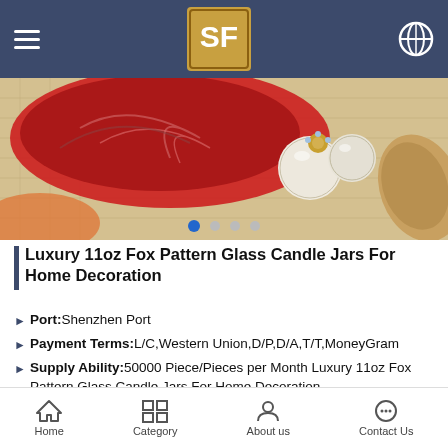SF [logo] navigation header
[Figure (photo): Product image showing a red decorative glass dish with feather pattern and pearl earrings on burlap background]
Luxury 11oz Fox Pattern Glass Candle Jars For Home Decoration
Port:Shenzhen Port
Payment Terms:L/C,Western Union,D/P,D/A,T/T,MoneyGram
Supply Ability:50000 Piece/Pieces per Month Luxury 11oz Fox Pattern Glass Candle Jars For Home Decoration
Printing:custom
Usage:Votive, Wedding, home,restaurant,hotel, party etc
Place of Origin:Guangdong China
Occasion:all
Use:Home Decoration
Home | Category | About us | Contact Us